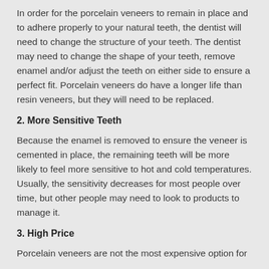In order for the porcelain veneers to remain in place and to adhere properly to your natural teeth, the dentist will need to change the structure of your teeth. The dentist may need to change the shape of your teeth, remove enamel and/or adjust the teeth on either side to ensure a perfect fit. Porcelain veneers do have a longer life than resin veneers, but they will need to be replaced.
2. More Sensitive Teeth
Because the enamel is removed to ensure the veneer is cemented in place, the remaining teeth will be more likely to feel more sensitive to hot and cold temperatures. Usually, the sensitivity decreases for most people over time, but other people may need to look to products to manage it.
3. High Price
Porcelain veneers are not the most expensive option for